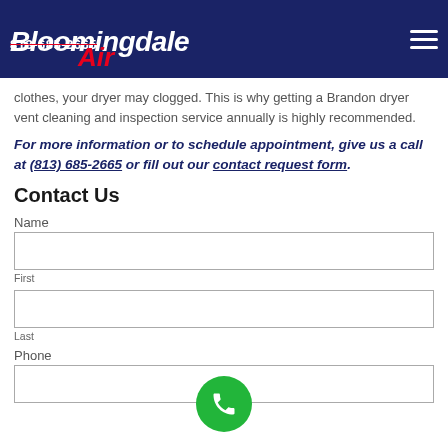Bloomingdale Air | 813-685-2665
clothes, your dryer may clogged. This is why getting a Brandon dryer vent cleaning and inspection service annually is highly recommended.
For more information or to schedule appointment, give us a call at (813) 685-2665 or fill out our contact request form.
Contact Us
Name
First
Last
Phone